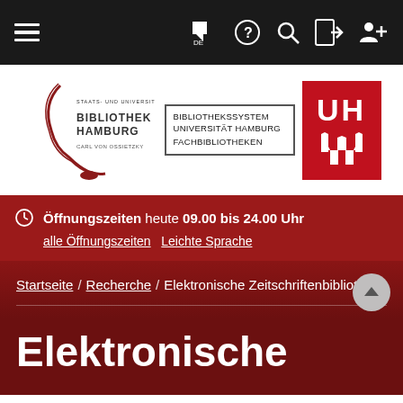[Figure (screenshot): Navigation bar with hamburger menu, flag/DE icon, help, search, login, and user+ icons on dark background]
[Figure (logo): Staats- und Universitätsbibliothek Hamburg Carl von Ossietzky logo, Bibliothekssystem Universität Hamburg Fachbibliotheken logo, and UH (Universität Hamburg) red logo]
Öffnungszeiten heute 09.00 bis 24.00 Uhr
alle Öffnungszeiten   Leichte Sprache
Startseite / Recherche / Elektronische Zeitschriftenbibliothek
Elektronische